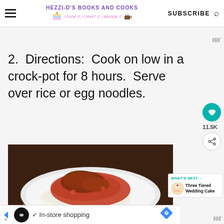HEZZI-D'S BOOKS AND COOKS | I COOK IT, I CRAFT IT, I REVIEW IT | SUBSCRIBE
2.  Directions:  Cook on low in a crock-pot for 8 hours.  Serve over rice or egg noodles.
[Figure (photo): A plate of braised/stewed meat in red tomato sauce served over white rice, on a white plate with a dark wood table background.]
WHAT'S NEXT → Three Tiered Wedding Cake
✓  In-store shopping